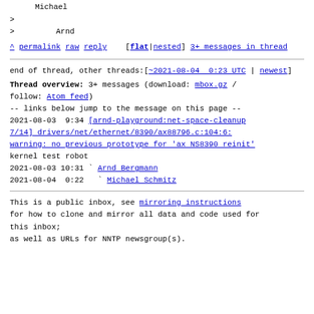Michael
>
>        Arnd
^ permalink raw reply    [flat|nested] 3+ messages in thread
end of thread, other threads:[~2021-08-04  0:23 UTC | newest]
Thread overview: 3+ messages (download: mbox.gz / follow: Atom feed)
-- links below jump to the message on this page --
2021-08-03  9:34 [arnd-playground:net-space-cleanup 7/14] drivers/net/ethernet/8390/ax88796.c:104:6: warning: no previous prototype for 'ax NS8390 reinit' kernel test robot
2021-08-03 10:31 ` Arnd Bergmann
2021-08-04  0:22   ` Michael Schmitz
This is a public inbox, see mirroring instructions
for how to clone and mirror all data and code used for this inbox;
as well as URLs for NNTP newsgroup(s).